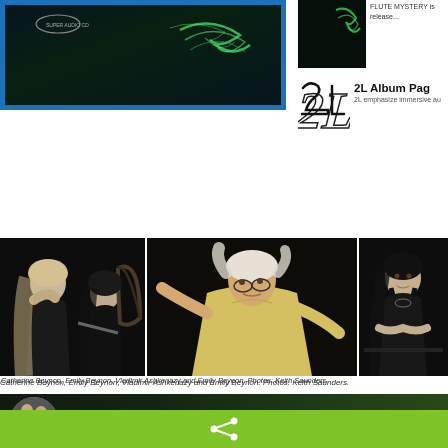[Figure (photo): SACD album cover with green aurora/light design on dark background, blue border frame]
[Figure (photo): Small thumbnail of Flute Mystery album]
FLUTE MYSTERY is release...
[Figure (logo): 2L label logo in handwritten style]
2L Album Pag
2L emphasize immersive au
[Figure (photo): Black and white photo of Catherine Beynon and Emily Beynon with harp and flute]
[Figure (photo): Color photo of Vladimir Ashkenazy conducting]
[Figure (photo): Black and white photo of Emily Beynon]
Catherine Beynon, Emily Beynon, Vladimir Ashkenazy and Emily Beynon. Photos: Keith Saunders.
Flute Mystery Op.66b
[Figure (photo): Circular thumbnail of musicians for audio player]